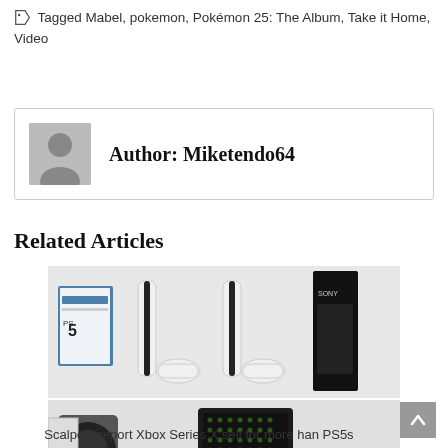Tagged Mabel, pokemon, Pokémon 25: The Album, Take it Home, Video
Author: Miketendo64
Related Articles
[Figure (photo): PS5 consoles and controllers product photo showing PlayStation 5 disc and digital editions with controllers]
[Figure (photo): Xbox Series S and Xbox Series X consoles product photos]
Scalpers report Xbox Series X sell for more han PS5s